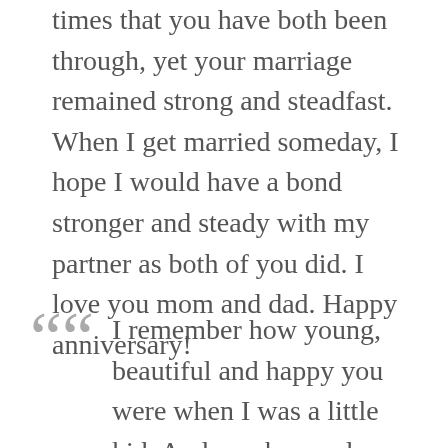times that you have both been through, yet your marriage remained strong and steadfast. When I get married someday, I hope I would have a bond stronger and steady with my partner as both of you did. I love you mom and dad. Happy anniversary!
I remember how young, beautiful and happy you were when I was a little kid. And you know, dear parents, nothing has changed since then. You're just the same: loving